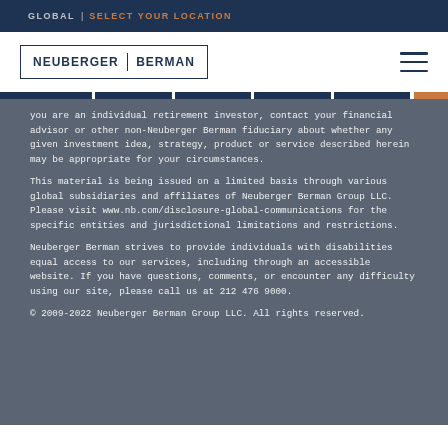GLOBAL | SELECT YOUR LOCATION
[Figure (logo): Neuberger Berman logo in rectangular border]
you are an individual retirement investor, contact your financial advisor or other non-Neuberger Berman fiduciary about whether any given investment idea, strategy, product or service described herein may be appropriate for your circumstances.
This material is being issued on a limited basis through various global subsidiaries and affiliates of Neuberger Berman Group LLC. Please visit www.nb.com/disclosure-global-communications for the specific entities and jurisdictional limitations and restrictions.
Neuberger Berman strives to provide individuals with disabilities equal access to our services, including through an accessible website. If you have questions, comments, or encounter any difficulty using our site, please call us at 212 476 9000.
© 2009-2022 Neuberger Berman Group LLC. All rights reserved.